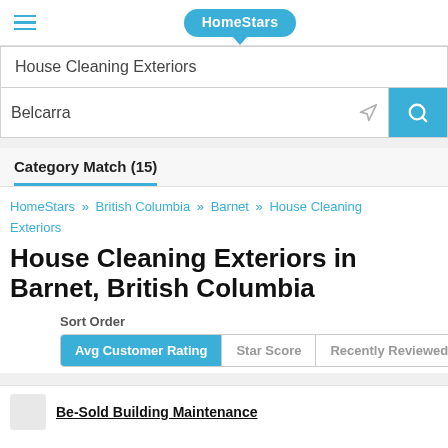HomeStars
House Cleaning Exteriors
Belcarra
Category Match (15)
HomeStars » British Columbia » Barnet » House Cleaning Exteriors
House Cleaning Exteriors in Barnet, British Columbia
Sort Order
Avg Customer Rating | Star Score | Recently Reviewed
Be-Sold Building Maintenance